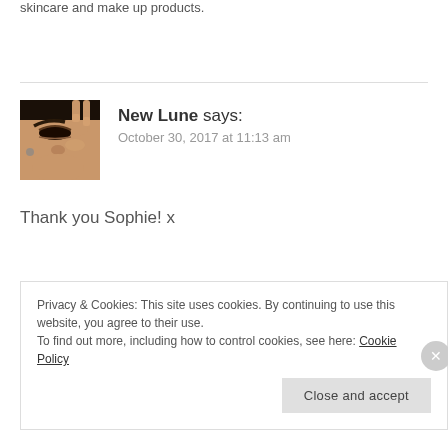skincare and make up products.
[Figure (photo): Close-up photo of a person with dramatic eye makeup, arched eyebrows, and long nails touching their face.]
New Lune says:
October 30, 2017 at 11:13 am
Thank you Sophie! x
Privacy & Cookies: This site uses cookies. By continuing to use this website, you agree to their use.
To find out more, including how to control cookies, see here: Cookie Policy
Close and accept